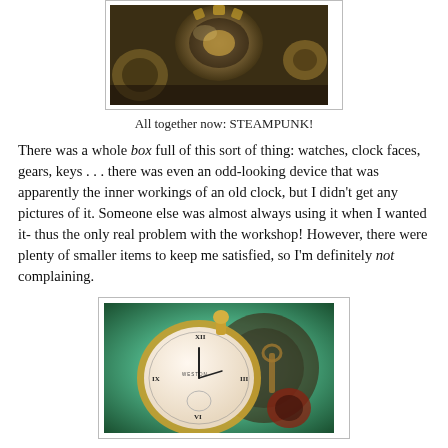[Figure (photo): Sepia-toned close-up photo of gears and clockwork mechanisms]
All together now: STEAMPUNK!
There was a whole box full of this sort of thing: watches, clock faces, gears, keys . . . there was even an odd-looking device that was apparently the inner workings of an old clock, but I didn't get any pictures of it. Someone else was almost always using it when I wanted it- thus the only real problem with the workshop! However, there were plenty of smaller items to keep me satisfied, so I'm definitely not complaining.
[Figure (photo): Color photo of a vintage pocket watch with Roman numerals, brass gears and a key on a teal/green blurred background]